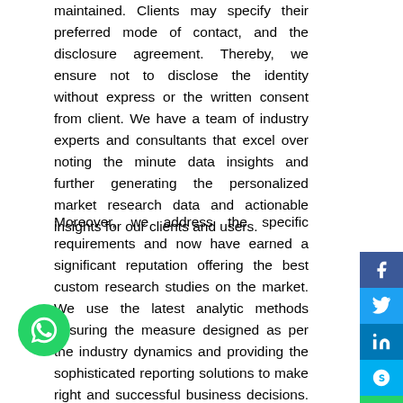maintained. Clients may specify their preferred mode of contact, and the disclosure agreement. Thereby, we ensure not to disclose the identity without express or the written consent from client. We have a team of industry experts and consultants that excel over noting the minute data insights and further generating the personalized market research data and actionable insights for our clients and users.
Moreover, we address the specific requirements and now have earned a significant reputation offering the best custom research studies on the market. We use the latest analytic methods ensuring the measure designed as per the industry dynamics and providing the sophisticated reporting solutions to make right and successful business decisions. Our consultants are able to determine & analyze the target market by establishing the multi-channel marketing strategy on continuous market evaluation and focusing on differentiated products and services to achieve business